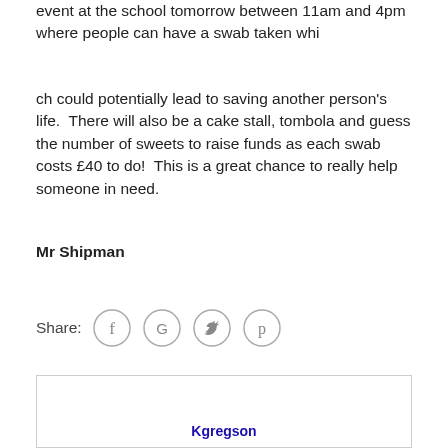event at the school tomorrow between 11am and 4pm where people can have a swab taken whi
ch could potentially lead to saving another person’s life.  There will also be a cake stall, tombola and guess the number of sweets to raise funds as each swab costs £40 to do!  This is a great chance to really help someone in need.
Mr Shipman
Share:
[Figure (infographic): Social share icons: Facebook (f), Google (G), Twitter (bird), Pinterest (p) — each in a grey circle outline]
Kgregson